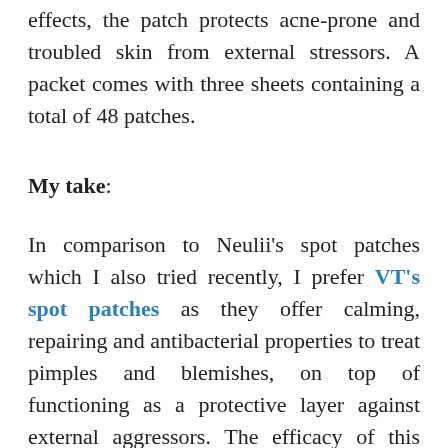effects, the patch protects acne-prone and troubled skin from external stressors. A packet comes with three sheets containing a total of 48 patches.
My take:
In comparison to Neulii's spot patches which I also tried recently, I prefer VT's spot patches as they offer calming, repairing and antibacterial properties to treat pimples and blemishes, on top of functioning as a protective layer against external aggressors. The efficacy of this patch was quick and noticeable – it did the job overnight! I stuck a spot patch onto one of my fresh pimples, and it turned white the following